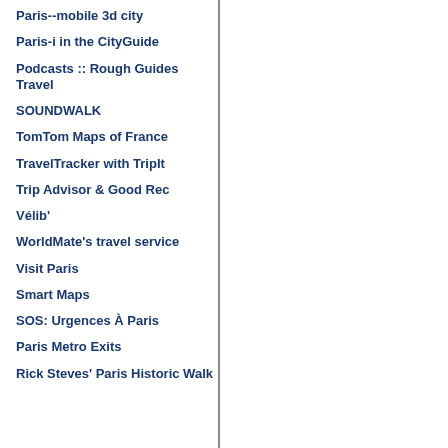Paris--mobile 3d city
Paris-i in the CityGuide
Podcasts :: Rough Guides Travel
SOUNDWALK
TomTom Maps of France
TravelTracker with TripIt
Trip Advisor & Good Rec
Vélib'
WorldMate's travel service
Visit Paris
Smart Maps
SOS: Urgences À Paris
Paris Metro Exits
Rick Steves' Paris Historic Walk